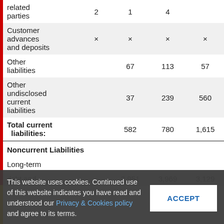|  |  |  |  |
| --- | --- | --- | --- |
| related parties | 2 | 1 | 4 |
| Customer advances and deposits | × | × | × | × |
| Other liabilities | 67 | 113 | 57 |
| Other undisclosed current liabilities | 37 | 239 | 560 |
| Total current liabilities: | 582 | 780 | 1,615 |
| Noncurrent Liabilities |  |  |  |
| Long-term |  |  |  |
| debt and | 3,951 | 3,969 | 3,129 |
This website uses cookies. Continued use of this website indicates you have read and understood our Privacy & Cookies policy and agree to its terms.